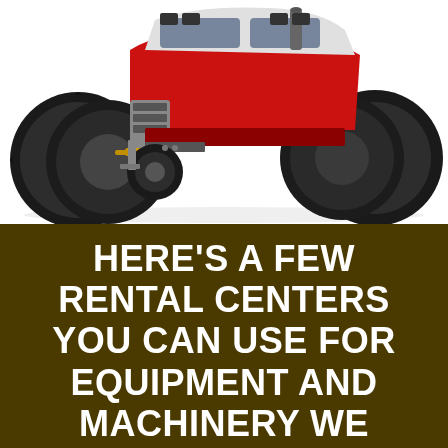[Figure (photo): A large red and black agricultural tractor with dual rear wheels and large knobby tires, photographed against a white background, front-facing view showing engine compartment details.]
HERE'S A FEW RENTAL CENTERS YOU CAN USE FOR EQUIPMENT AND MACHINERY WE RECOMMEND